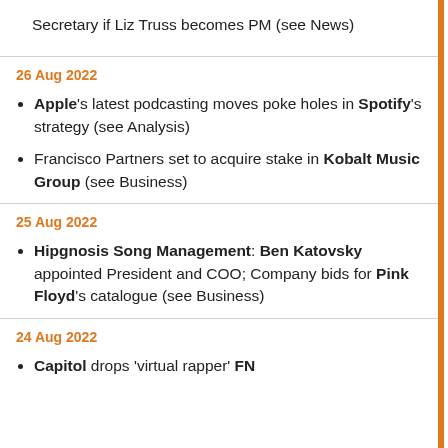Secretary if Liz Truss becomes PM (see News)
26 Aug 2022
Apple's latest podcasting moves poke holes in Spotify's strategy (see Analysis)
Francisco Partners set to acquire stake in Kobalt Music Group (see Business)
25 Aug 2022
Hipgnosis Song Management: Ben Katovsky appointed President and COO; Company bids for Pink Floyd's catalogue (see Business)
24 Aug 2022
Capitol drops 'virtual rapper' FN